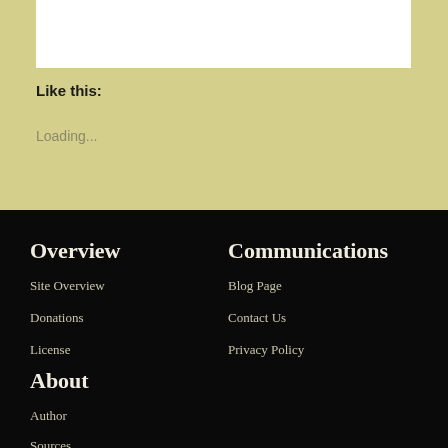[Figure (screenshot): White content box area at top of page]
Like this:
Loading...
Overview
Site Overview
Donations
License
Communications
Blog Page
Contact Us
Privacy Policy
About
Author
Sources